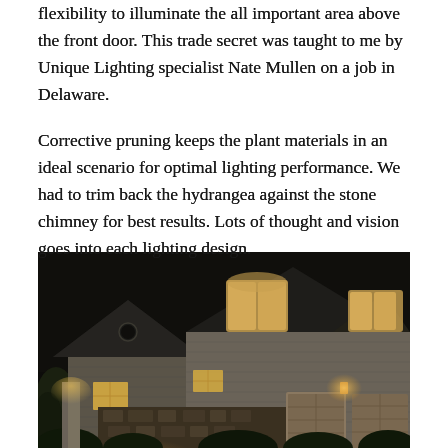flexibility to illuminate the all important area above the front door. This trade secret was taught to me by Unique Lighting specialist Nate Mullen on a job in Delaware.
Corrective pruning keeps the plant materials in an ideal scenario for optimal lighting performance. We had to trim back the hydrangea against the stone chimney for best results. Lots of thought and vision goes into each lighting design.
[Figure (photo): Night photo of an illuminated residential home exterior with warm landscape lighting highlighting stone foundation, garage doors, and architectural details against a dark sky.]